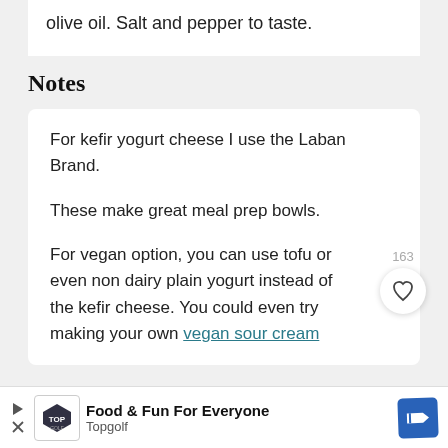olive oil. Salt and pepper to taste.
Notes
For kefir yogurt cheese I use the Laban Brand.
These make great meal prep bowls.
For vegan option, you can use tofu or even non dairy plain yogurt instead of the kefir cheese. You could even try making your own vegan sour cream
[Figure (infographic): Advertisement banner for Topgolf: Food & Fun For Everyone, with Topgolf logo, play button icon, and blue direction sign icon.]